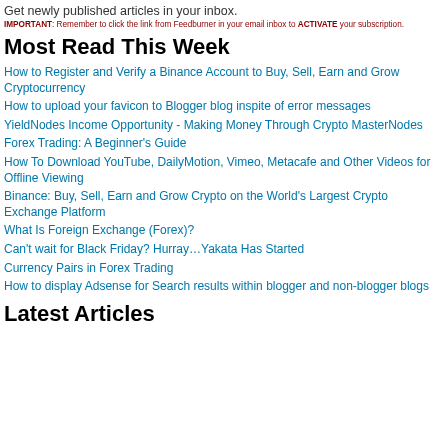Get newly published articles in your inbox.
IMPORTANT: Remember to click the link from Feedburner in your email inbox to ACTIVATE your subscription.
Most Read This Week
How to Register and Verify a Binance Account to Buy, Sell, Earn and Grow Cryptocurrency
How to upload your favicon to Blogger blog inspite of error messages
YieldNodes Income Opportunity - Making Money Through Crypto MasterNodes
Forex Trading: A Beginner's Guide
How To Download YouTube, DailyMotion, Vimeo, Metacafe and Other Videos for Offline Viewing
Binance: Buy, Sell, Earn and Grow Crypto on the World's Largest Crypto Exchange Platform
What Is Foreign Exchange (Forex)?
Can't wait for Black Friday? Hurray…Yakata Has Started
Currency Pairs in Forex Trading
How to display Adsense for Search results within blogger and non-blogger blogs
Latest Articles